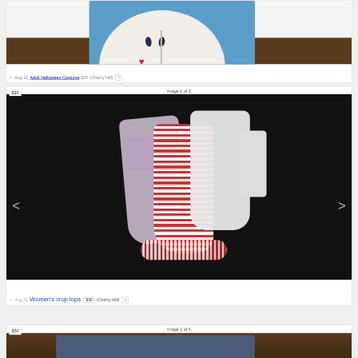[Figure (photo): Partial view of a Halloween costume item showing a round embroidered piece with hearts and rain drops on blue and white fabric, on a wooden surface.]
Aug 31  Adult Halloween Costume  $20  (Cherry Hill)
image 1 of 3
[Figure (photo): Photo of folded women's crop tops in purple, red/white striped, and white colors on a dark background.]
Aug 31  Women's crop tops  $30  (Cherry Hill)
image 1 of 6
[Figure (photo): Partial view of a listing image showing jeans or denim items.]